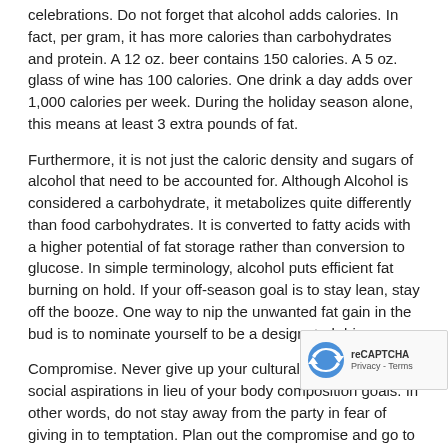celebrations. Do not forget that alcohol adds calories. In fact, per gram, it has more calories than carbohydrates and protein. A 12 oz. beer contains 150 calories. A 5 oz. glass of wine has 100 calories. One drink a day adds over 1,000 calories per week. During the holiday season alone, this means at least 3 extra pounds of fat.
Furthermore, it is not just the caloric density and sugars of alcohol that need to be accounted for. Although Alcohol is considered a carbohydrate, it metabolizes quite differently than food carbohydrates. It is converted to fatty acids with a higher potential of fat storage rather than conversion to glucose. In simple terminology, alcohol puts efficient fat burning on hold. If your off-season goal is to stay lean, stay off the booze. One way to nip the unwanted fat gain in the bud is to nominate yourself to be a designated driver.
Compromise. Never give up your cultural traditions or social aspirations in lieu of your body composition goals. In other words, do not stay away from the party in fear of giving in to temptation. Plan out the compromise and go to the party regardless. Remember the adage: The party does not have to be in your mouth! Staying away from temptation altogether may cause you to feel into deprived later down the line. Emotional eating is more difficult to control than a few slip-ups at holiday parties. As a host, you can